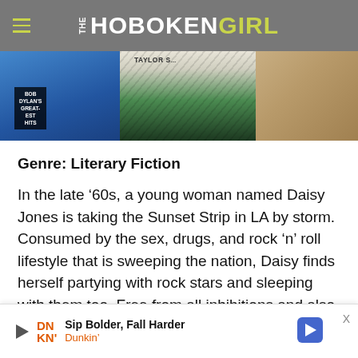THE HOBOKEN GIRL
[Figure (photo): Partial view of vinyl record albums including Bob Dylan's Greatest Hits and Taylor Swift, with a green decorative feather and tan fabric in background]
Genre: Literary Fiction
In the late ’60s, a young woman named Daisy Jones is taking the Sunset Strip in LA by storm. Consumed by the sex, drugs, and rock ‘n’ roll lifestyle that is sweeping the nation, Daisy finds herself partying with rock stars and sleeping with them too. Free from all inhibitions and also wildly gorgeous, she is
Sip Bolder, Fall Harder — Dunkin'